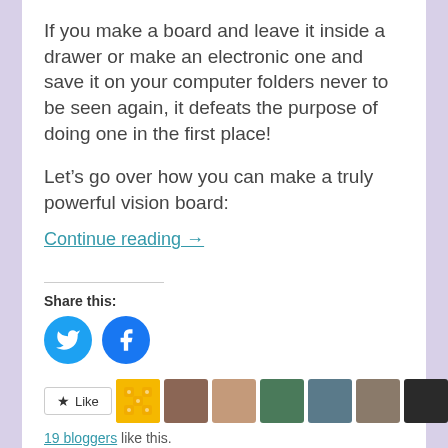If you make a board and leave it inside a drawer or make an electronic one and save it on your computer folders never to be seen again, it defeats the purpose of doing one in the first place!
Let’s go over how you can make a truly powerful vision board:
Continue reading →
Share this:
[Figure (other): Twitter and Facebook share buttons (circular blue icons)]
[Figure (other): Like button, pattern avatar, and 8 blogger profile photos/avatars]
19 bloggers like this.
Tagged Ambition, Business, Development, Energy